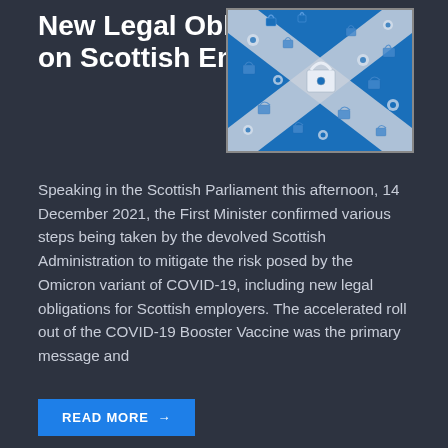New Legal Obligations on Scottish Employers
[Figure (illustration): Scottish Saltire flag (blue background with white diagonal cross / St. Andrew's Cross) composed of padlock and gear icons in blue and white/gray]
Speaking in the Scottish Parliament this afternoon, 14 December 2021, the First Minister confirmed various steps being taken by the devolved Scottish Administration to mitigate the risk posed by the Omicron variant of COVID-19, including new legal obligations for Scottish employers. The accelerated roll out of the COVID-19 Booster Vaccine was the primary message and
READ MORE →